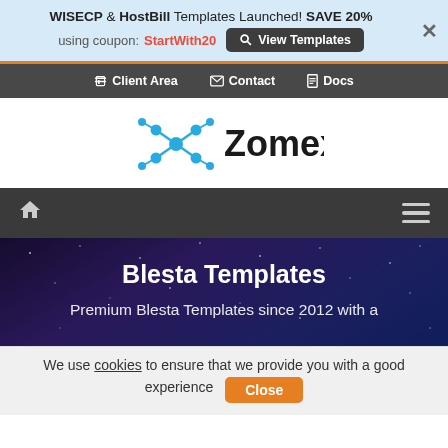WISECP & HostBill Templates Launched! SAVE 20% using coupon: StartWith20  [View Templates]  ×
[Figure (screenshot): Top navigation bar with Client Area, Contact, and Docs links on dark grey background]
[Figure (logo): Zomex logo: blue molecule/network icon with 'Zomex' in bold dark text]
[Figure (screenshot): Dark grey navigation bar with home icon on left and hamburger menu icon on right]
Blesta Templates
Premium Blesta Templates since 2012 with a
We use cookies to ensure that we provide you with a good experience  [Close]